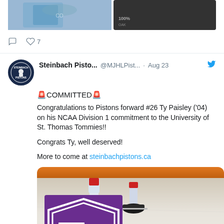[Figure (screenshot): Top fragment of a tweet showing two photos (hockey jersey and dark background) with like/comment icons and 7 likes]
[Figure (screenshot): Steinbach Pistons Twitter avatar - circular logo with hockey player]
Steinbach Pisto... @MJHLPist... · Aug 23
🚨COMMITTED🚨
Congratulations to Pistons forward #26 Ty Paisley ('04) on his NCAA Division 1 commitment to the University of St. Thomas Tommies!!

Congrats Ty, well deserved!

More to come at steinbachpistons.ca
[Figure (photo): Hockey player skating on ice rink with University of St. Thomas purple shield logo overlaid in bottom left corner]